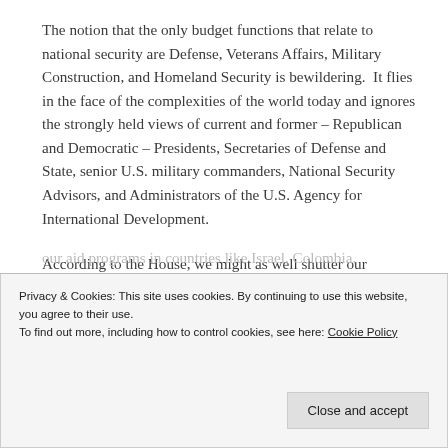The notion that the only budget functions that relate to national security are Defense, Veterans Affairs, Military Construction, and Homeland Security is bewildering.  It flies in the face of the complexities of the world today and ignores the strongly held views of current and former – Republican and Democratic – Presidents, Secretaries of Defense and State, senior U.S. military commanders, National Security Advisors, and Administrators of the U.S. Agency for International Development.
According to the House, we might as well shutter our embassies and fire our diplomats, particularly in the
our aid programs in countries like Israel, Colombia,
Privacy & Cookies: This site uses cookies. By continuing to use this website, you agree to their use.
To find out more, including how to control cookies, see here: Cookie Policy
Close and accept